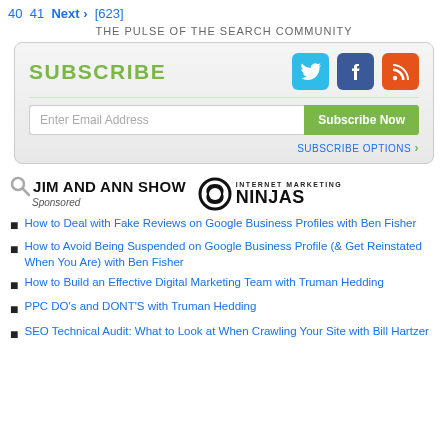40  41  Next >  [623]
THE PULSE OF THE SEARCH COMMUNITY
[Figure (infographic): Subscribe box with SUBSCRIBE label in green, Twitter, Facebook, RSS social icons, email input field, Subscribe Now button, and SUBSCRIBE OPTIONS link]
[Figure (logo): Jim and Ann Show logo with magnifying glass icon and Internet Marketing Ninjas logo with swirl icon. Sponsored label below Jim and Ann Show.]
How to Deal with Fake Reviews on Google Business Profiles with Ben Fisher
How to Avoid Being Suspended on Google Business Profile (& Get Reinstated When You Are) with Ben Fisher
How to Build an Effective Digital Marketing Team with Truman Hedding
PPC DO's and DONT'S with Truman Hedding
SEO Technical Audit: What to Look at When Crawling Your Site with Bill Hartzer